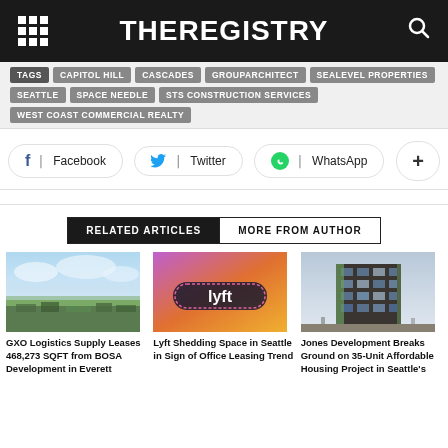THEREGISTRY
TAGS | CAPITOL HILL | CASCADES | GROUPARCHITECT | SEALEVEL PROPERTIES | SEATTLE | SPACE NEEDLE | STS CONSTRUCTION SERVICES | WEST COAST COMMERCIAL REALTY
Facebook  Twitter  WhatsApp  +
RELATED ARTICLES  MORE FROM AUTHOR
[Figure (photo): Aerial view of suburban area near water, Everett WA]
GXO Logistics Supply Leases 468,273 SQFT from BOSA Development in Everett
[Figure (photo): Lyft logo on purple/orange gradient background]
Lyft Shedding Space in Seattle in Sign of Office Leasing Trend
[Figure (photo): Modern multi-story building rendering, affordable housing project]
Jones Development Breaks Ground on 35-Unit Affordable Housing Project in Seattle's